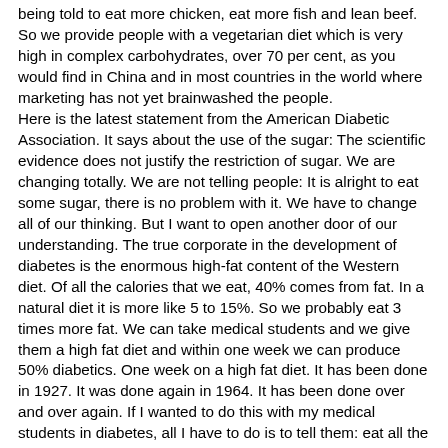being told to eat more chicken, eat more fish and lean beef. So we provide people with a vegetarian diet which is very high in complex carbohydrates, over 70 per cent, as you would find in China and in most countries in the world where marketing has not yet brainwashed the people. Here is the latest statement from the American Diabetic Association. It says about the use of the sugar: The scientific evidence does not justify the restriction of sugar. We are changing totally. We are not telling people: It is alright to eat some sugar, there is no problem with it. We have to change all of our thinking. But I want to open another door of our understanding. The true corporate in the development of diabetes is the enormous high-fat content of the Western diet. Of all the calories that we eat, 40% comes from fat. In a natural diet it is more like 5 to 15%. So we probably eat 3 times more fat. We can take medical students and we give them a high fat diet and within one week we can produce 50% diabetics. One week on a high fat diet. It has been done in 1927. It was done again in 1964. It has been done over and over again. If I wanted to do this with my medical students in diabetes, all I have to do is to tell them: eat all the fat, eat all the grease that you want for one week and I will have excellent chance to have 70% who will test diabetics in one week. And then I will give them one pound of sugar every day for one week, for 2 weeks for 10 weeks, but very little fat, and I cannot produce one diabetic in 11 weeks. So, we have to rethink. We have known this for many many years. I